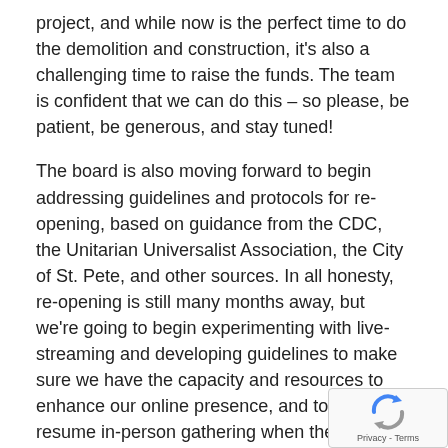project, and while now is the perfect time to do the demolition and construction, it's also a challenging time to raise the funds.  The team is confident that we can do this – so please, be patient, be generous, and stay tuned!
The board is also moving forward to begin addressing guidelines and protocols for re-opening, based on guidance from the CDC, the Unitarian Universalist Association, the City of St. Pete, and other sources.  In all honesty, re-opening is still many months away, but we're going to begin experimenting with live-streaming and developing guidelines to make sure we have the capacity and resources to enhance our online presence, and to safely resume in-person gathering when the time is right.  The health and safety of our congregation is our top concern, and we will move cautiously.
All board meetings are open to the congregation.  For security purposes, click on the request for the Zoom password either from the InfoNet announcement or the